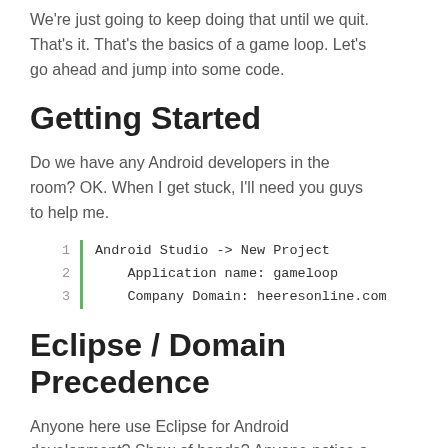We're just going to keep doing that until we quit. That's it. That's the basics of a game loop. Let's go ahead and jump into some code.
Getting Started
Do we have any Android developers in the room? OK. When I get stuck, I'll need you guys to help me.
[Figure (screenshot): Code block with 3 lines: 1: Android Studio -> New Project, 2: Application name: gameloop, 3: Company Domain: heeresonline.com]
Eclipse / Domain Precedence
Anyone here use Eclipse for Android development? Show of hands? Anyone notice a difference? For Java applications, it's recommended to write in domain precedence (com.heeresonline.application).